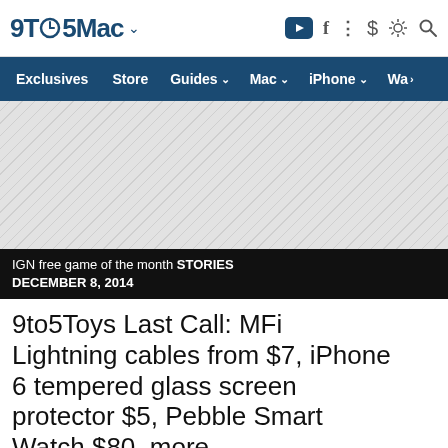9TO5Mac
Exclusives  Store  Guides  Mac  iPhone  Wa
[Figure (other): Grey hatched advertisement placeholder area]
IGN free game of the month STORIES DECEMBER 8, 2014
9to5Toys Last Call: MFi Lightning cables from $7, iPhone 6 tempered glass screen protector $5, Pebble Smart Watch $80, more
- Dec. 8th 2014 12:01 pm PT